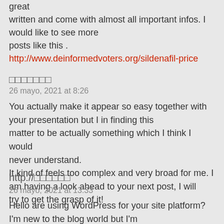great
written and come with almost all important infos. I would like to see more
posts like this .
http://www.deinformedvoters.org/sildenafil-price
□□□□□□□
26 mayo, 2021 at 8:26
You actually make it appear so easy together with your presentation but I in finding this matter to be actually something which I think I would never understand.
It kind of feels too complex and very broad for me. I am having a look ahead to your next post, I will try to get the grasp of it!
http://□□□□□□
26 mayo, 2021 at 13:33
Hello are using WordPress for your site platform? I'm new to the blog world but I'm trying to get started and create my own. Do you